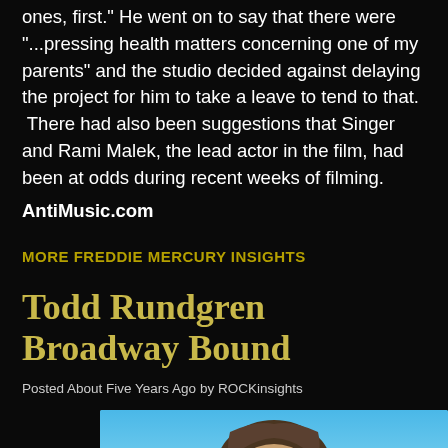ones, first." He went on to say that there were "...pressing health matters concerning one of my parents" and the studio decided against delaying the project for him to take a leave to tend to that. There had also been suggestions that Singer and Rami Malek, the lead actor in the film, had been at odds during recent weeks of filming.
AntiMusic.com
MORE FREDDIE MERCURY INSIGHTS
Todd Rundgren Broadway Bound
Posted About Five Years Ago by ROCKinsights
[Figure (photo): Photo of Todd Rundgren, a man with long hair and sunglasses, photographed against a blue sky background]